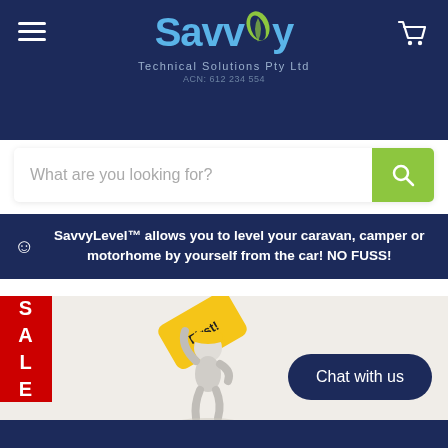[Figure (logo): Savvy Technical Solutions Pty Ltd logo with leaf icon, blue and green color scheme]
What are you looking for?
SavvyLevel™ allows you to level your caravan, camper or motorhome by yourself from the car! NO FUSS!
[Figure (illustration): 3D white figure character wearing a yellow hard hat, holding a yellow sign that reads 'First'. SALE badge on left side.]
Chat with us